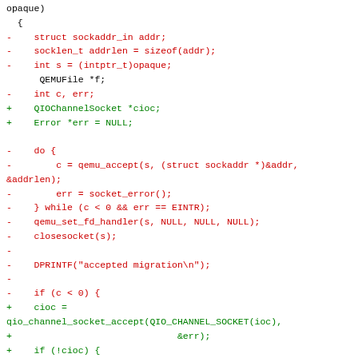[Figure (other): Code diff showing changes to a QEMU migration socket accept handler, with removed lines in red and added lines in green]